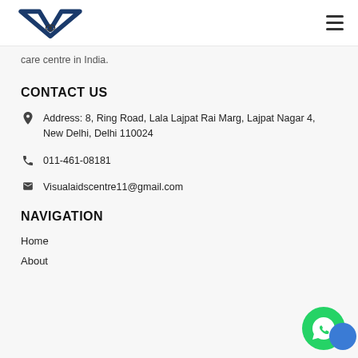Visual Aids Centre logo and navigation menu
care centre in India.
CONTACT US
Address: 8, Ring Road, Lala Lajpat Rai Marg, Lajpat Nagar 4, New Delhi, Delhi 110024
011-461-08181
Visualaidscentre11@gmail.com
NAVIGATION
Home
About